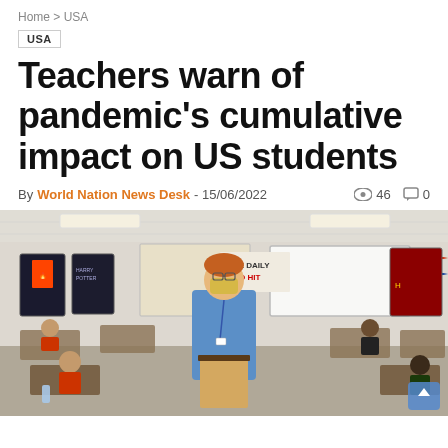Home > USA
USA
Teachers warn of pandemic's cumulative impact on US students
By World Nation News Desk - 15/06/2022  46  0
[Figure (photo): A teacher wearing a yellow face mask and blue dress shirt stands at the front of a classroom with students seated at desks. Various posters including movie posters and pennants decorate the walls. A whiteboard is visible in the background.]